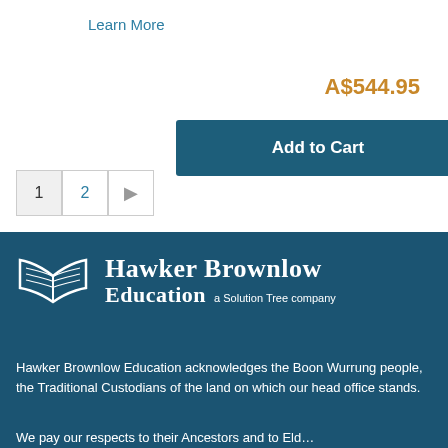Learn More
Add to Cart
A$544.95
1  2  →
[Figure (logo): Hawker Brownlow Education logo — open book icon with company name and 'a Solution Tree company' tagline, white on teal background]
Hawker Brownlow Education acknowledges the Boon Wurrung people, the Traditional Custodians of the land on which our head office stands.
We pay our respects to their Ancestors and to Elders past and present and extend that respect to all Aboriginal and Torres Strait Islander peoples today.